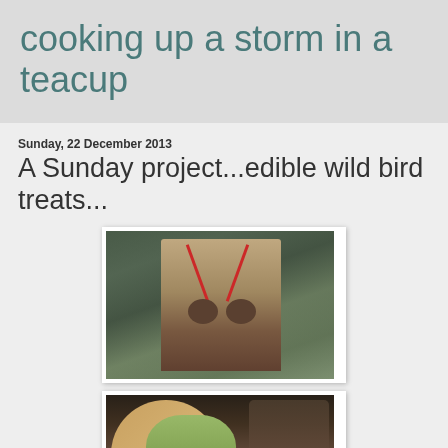cooking up a storm in a teacup
Sunday, 22 December 2013
A Sunday project...edible wild bird treats...
[Figure (photo): Person holding bird treats with red ribbon near a window with garden visible in background]
[Figure (photo): Wicker basket beside a pot with green vegetables/ingredients on a dark surface]